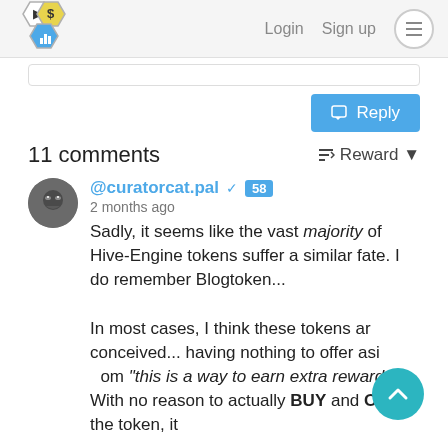Login  Sign up
[Figure (logo): Hexagonal logo with cursor, dollar sign, and bar chart icons]
Reply
11 comments
Reward
@curatorcat.pal  58
2 months ago
Sadly, it seems like the vast majority of Hive-Engine tokens suffer a similar fate. I do remember Blogtoken...

In most cases, I think these tokens are conceived... having nothing to offer aside from "this is a way to earn extra rewards!" With no reason to actually BUY and OWN the token, it